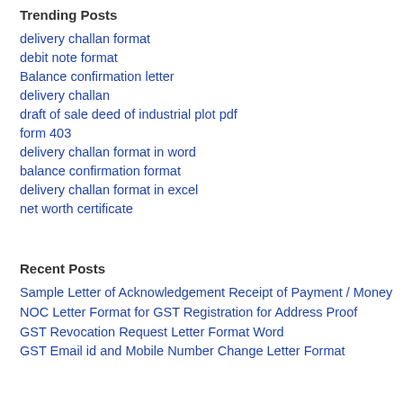Trending Posts
delivery challan format
debit note format
Balance confirmation letter
delivery challan
draft of sale deed of industrial plot pdf
form 403
delivery challan format in word
balance confirmation format
delivery challan format in excel
net worth certificate
Recent Posts
Sample Letter of Acknowledgement Receipt of Payment / Money
NOC Letter Format for GST Registration for Address Proof
GST Revocation Request Letter Format Word
GST Email id and Mobile Number Change Letter Format